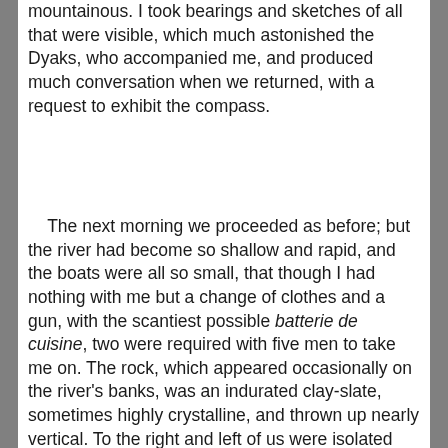mountainous. I took bearings and sketches of all that were visible, which much astonished the Dyaks, who accompanied me, and produced much conversation when we returned, with a request to exhibit the compass.
The next morning we proceeded as before; but the river had become so shallow and rapid, and the boats were all so small, that though I had nothing with me but a change of clothes and a gun, with the scantiest possible batterie de cuisine, two were required with five men to take me on. The rock, which appeared occasionally on the river's banks, was an indurated clay-slate, sometimes highly crystalline, and thrown up nearly vertical. To the right and left of us were isolated mountains, which I knew to be limestone by their peculiar outlines, and by the whiteness of the numerous precipices they presented, no doubt an extension to the eastward of the limestone of the Saráwak river. The river bed was a mass of pebbles, mostly pure white quartz, with, however, abundance of jasper and veined quartz, which often presented a beautiful appearance. It was only 10 in the morning when we arrived at Budw; and though there were plenty of people about, I could not induce them to